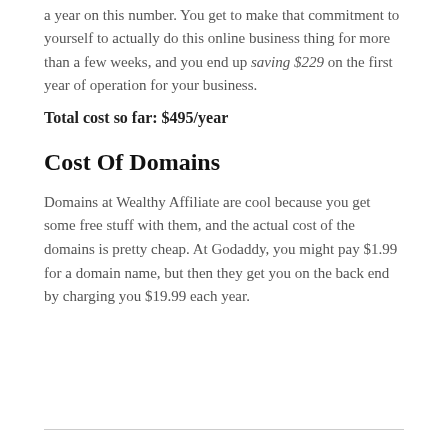a year on this number. You get to make that commitment to yourself to actually do this online business thing for more than a few weeks, and you end up saving $229 on the first year of operation for your business.
Total cost so far: $495/year
Cost Of Domains
Domains at Wealthy Affiliate are cool because you get some free stuff with them, and the actual cost of the domains is pretty cheap. At Godaddy, you might pay $1.99 for a domain name, but then they get you on the back end by charging you $19.99 each year.